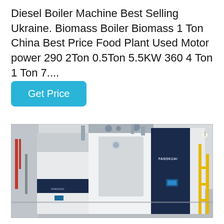Diesel Boiler Machine Best Selling Ukraine. Biomass Boiler Biomass 1 Ton China Best Price Food Plant Used Motor power 290 2Ton 0.5Ton 5.5KW 360 4 Ton 1 Ton 7....
Get Price
[Figure (photo): Industrial boiler machines in a facility. Large white and dark navy blue boiler units with FANGKUAI branding, pipes and fittings visible overhead, yellow metal scaffolding on the right side, grey concrete floor and walls.]